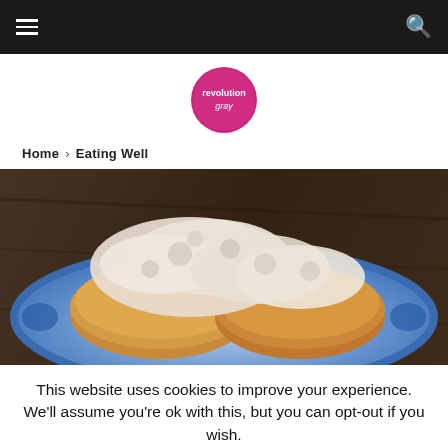Navigation bar with hamburger menu and search icon
[Figure (logo): Revolution Gray circular logo in pink/magenta with white text]
Home > Eating Well
[Figure (photo): Biscuits and gravy served on a blue floral plate on a dark wooden surface]
This website uses cookies to improve your experience. We'll assume you're ok with this, but you can opt-out if you wish. Cookie settings ACCEPT